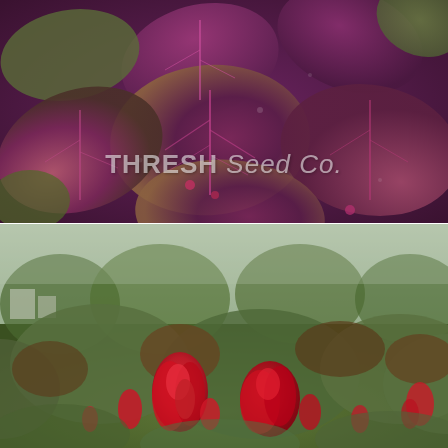[Figure (photo): Close-up photograph of deep purple-red amaranth leaves with prominent veining and lighter green undersides, water droplets visible on leaves]
[Figure (photo): Outdoor photograph of amaranth plants with vivid red feathery flower plumes and mixed green and reddish-brown foliage, with a green garden and overcast sky in the background]